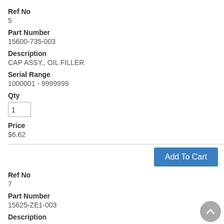Ref No
5
Part Number
15600-735-003
Description
CAP ASSY., OIL FILLER
Serial Range
1000001 - 9999999
Qty
1
Price
$6.62
Add To Cart
Ref No
7
Part Number
15625-ZE1-003
Description